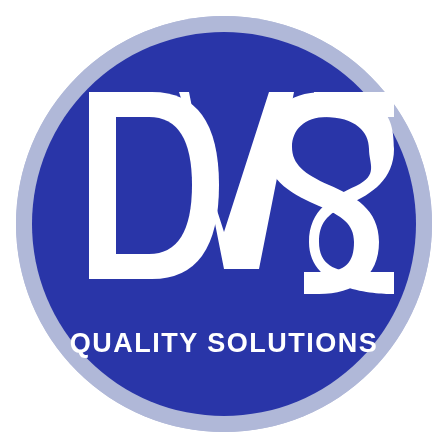[Figure (logo): DVS Quality Solutions circular logo. A large circle with a light blue/lavender outer ring and a dark navy/royal blue filled interior. White large bold letters 'DVS' arranged with D on the left, V in the center-bottom (forming a chevron/V shape with D and S), and S on the right. Below the letters, white bold text reads 'QUALITY SOLUTIONS'.]